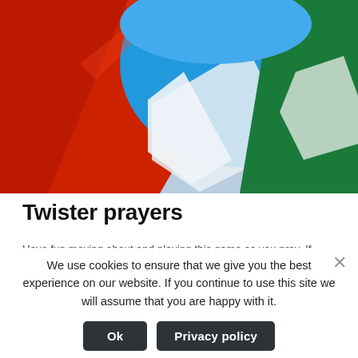[Figure (photo): Close-up photo of colorful Twister game mat showing red, blue, green, and light blue/white circle sections folded and overlapping.]
Twister prayers
Have fun moving about and playing this game as you pray. If
We use cookies to ensure that we give you the best experience on our website. If you continue to use this site we will assume that you are happy with it.